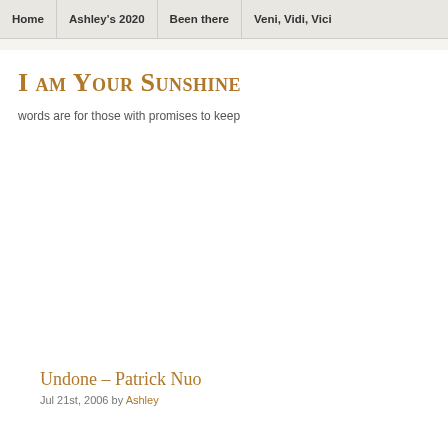Home | Ashley's 2020 | Been there | Veni, Vidi, Vici
I am Your Sunshine
words are for those with promises to keep
Undone – Patrick Nuo
Jul 21st, 2006 by Ashley